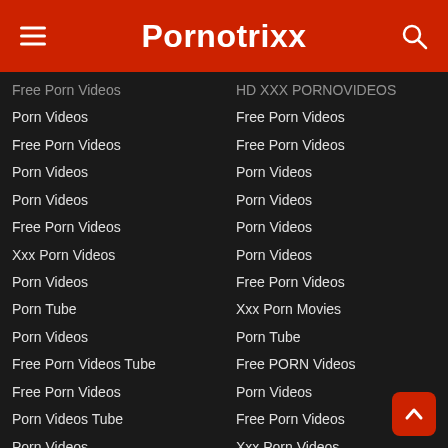Pornotrixx
Free Porn Videos
Porn Videos
Free Porn Videos
Porn Videos
Porn Videos
Free Porn Videos
Xxx Porn Videos
Porn Videos
Porn Tube
Porn Videos
Free Porn Videos Tube
Free Porn Videos
Porn Videos Tube
Porn Videos
Porn & Xxx
Porn Videos
Porn Videos
Free Porn Videos
Free Online Porn Videos
Porn Videos
Porn Videos
HD XXX PORNOVIDEOS
Free Porn Videos
Free Porn Videos
Porn Videos
Porn Videos
Porn Videos
Porn Videos
Free Porn Videos
Xxx Porn Movies
Porn Tube
Free PORN Videos
Porn Videos
Free Porn Videos
Xxx Porn Videos
We Love Porn
Xxx Porn Videos
Porn Videos
Shemale Porn
Просто Порно Видео
Free Porn Tube
Por Tube Tol